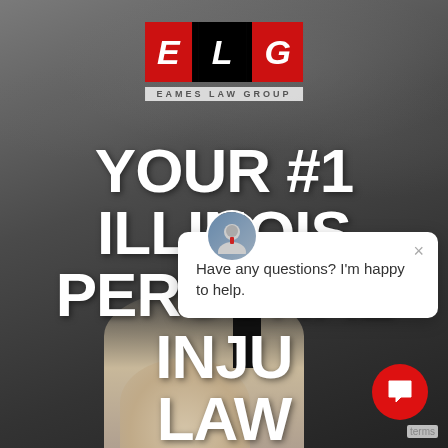[Figure (screenshot): Eames Law Group website screenshot showing dark cloudy background with a man in a suit, large white bold text reading YOUR #1 ILLINOIS PERSONAL INJURY LAWYER, and a chat popup overlay saying Have any questions? I'm happy to help.]
YOUR #1 ILLINOIS PERSONAL INJURY LAWYER
Have any questions? I'm happy to help.